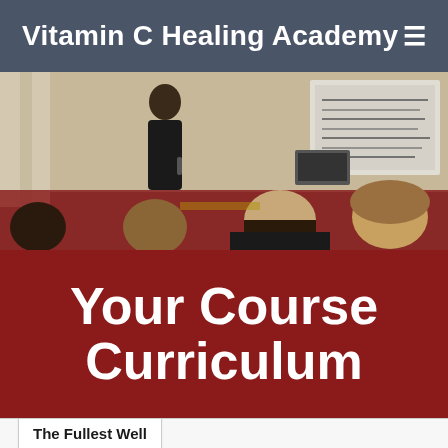Vitamin C Healing Academy  ≡
[Figure (photo): A presenter (woman in black) standing and speaking to an audience seated with their backs to the camera, in a room with a projection screen showing bullet points.]
Your Course Curriculum
The Fullest Well